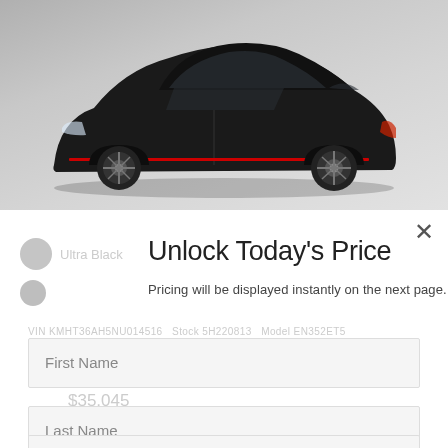[Figure (photo): Side profile of a black Hyundai Veloster N sports car on a gray gradient background]
Unlock Today's Price
Pricing will be displayed instantly on the next page.
VIN KMHT36AH5NU014516   Stock 5H220813   Model EN352ET5
First Name
Last Name
Email Address